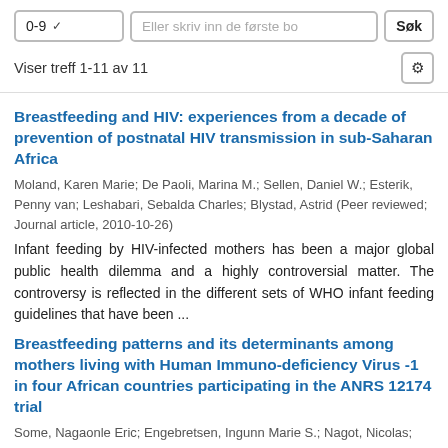0-9  Eller skriv inn de første bo  Søk
Viser treff 1-11 av 11
Breastfeeding and HIV: experiences from a decade of prevention of postnatal HIV transmission in sub-Saharan Africa
Moland, Karen Marie; De Paoli, Marina M.; Sellen, Daniel W.; Esterik, Penny van; Leshabari, Sebalda Charles; Blystad, Astrid (Peer reviewed; Journal article, 2010-10-26)
Infant feeding by HIV-infected mothers has been a major global public health dilemma and a highly controversial matter. The controversy is reflected in the different sets of WHO infant feeding guidelines that have been ...
Breastfeeding patterns and its determinants among mothers living with Human Immuno-deficiency Virus -1 in four African countries participating in the ANRS 12174 trial
Some, Nagaonle Eric; Engebretsen, Ingunn Marie S.; Nagot, Nicolas; Meda,